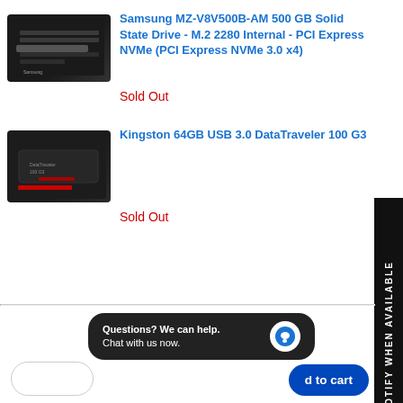[Figure (photo): Samsung MZ-V8V500B-AM 500 GB SSD M.2 2280 NVMe product image]
Samsung MZ-V8V500B-AM 500 GB Solid State Drive - M.2 2280 Internal - PCI Express NVMe (PCI Express NVMe 3.0 x4)
Sold Out
[Figure (photo): Kingston 64GB USB 3.0 DataTraveler 100 G3 product image]
Kingston 64GB USB 3.0 DataTraveler 100 G3
Sold Out
[Figure (other): NOTIFY WHEN AVAILABLE vertical sidebar button]
Questions? We can help. Chat with us now.
d to cart